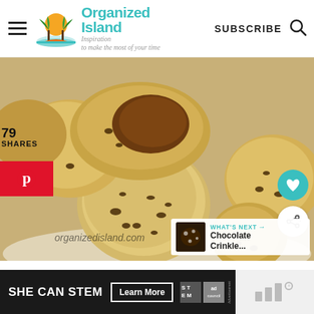Organized Island — Inspiration to make the most of your time | SUBSCRIBE
[Figure (photo): Close-up photo of chocolate chip cookies and a cookie with Nutella/chocolate spread on a white plate, with watermark organizedisland.com. Overlay elements: 79 SHARES badge, Pinterest share button, heart/like button, share button, What's Next panel showing Chocolate Crinkle...]
[Figure (screenshot): Advertisement banner: SHE CAN STEM with Learn More button, STEM logo, Ad Council logo, and ad side panel with bars/graph icon]